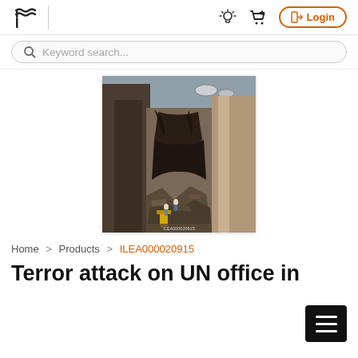Logo | [lightbulb icon] [cart icon] Login
Keyword search...
[Figure (photo): Photograph of bomb-damaged building rubble, destroyed structure with debris and people visible among the ruins]
Home > Products > ILEA000020915
Terror attack on UN office in